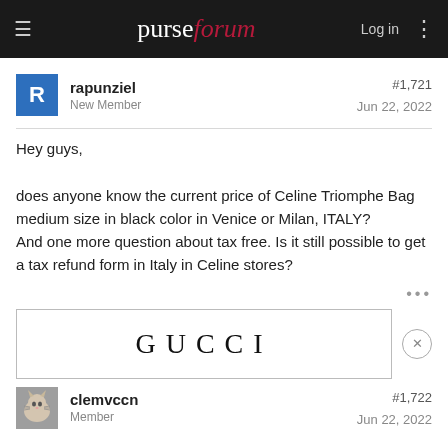purseforum — Log in
rapunziel
New Member
#1,721
Jun 22, 2022
Hey guys,

does anyone know the current price of Celine Triomphe Bag medium size in black color in Venice or Milan, ITALY?
And one more question about tax free. Is it still possible to get a tax refund form in Italy in Celine stores?
[Figure (logo): GUCCI advertisement banner with bold letter-spaced text on white background with border]
clemvccn
Member
#1,722
Jun 22, 2022